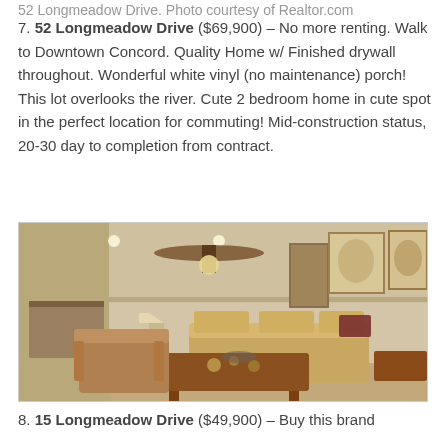52 Longmeadow Drive. Photo courtesy of Realtor.com
7. 52 Longmeadow Drive ($69,900) – No more renting. Walk to Downtown Concord. Quality Home w/ Finished drywall throughout. Wonderful white vinyl (no maintenance) porch! This lot overlooks the river. Cute 2 bedroom home in cute spot in the perfect location for commuting! Mid-construction status, 20-30 day to completion from contract.
[Figure (photo): Interior living room photo showing a ceiling fan, sofa, coffee table, and wall art in a warm-toned home.]
8. 15 Longmeadow Drive ($49,900) – Buy this brand